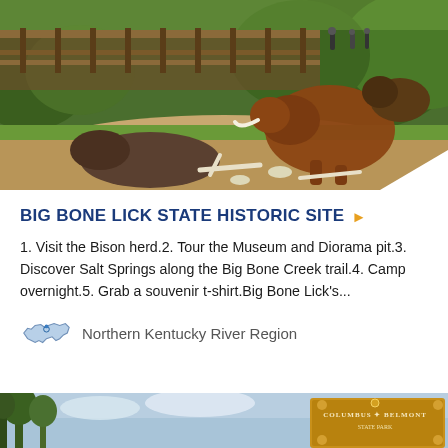[Figure (photo): Outdoor scene at Big Bone Lick State Historic Site showing life-size prehistoric animal recreations (mastodons/mammoth sculptures and bones) in a pit/diorama area with a wooden boardwalk, visitors, and green trees in the background.]
BIG BONE LICK STATE HISTORIC SITE
1. Visit the Bison herd.2. Tour the Museum and Diorama pit.3. Discover Salt Springs along the Big Bone Creek trail.4. Camp overnight.5. Grab a souvenir t-shirt.Big Bone Lick's...
Northern Kentucky River Region
[Figure (photo): Partial view of a second attraction at the bottom of the page showing trees and a Columbus-Belmont sign.]